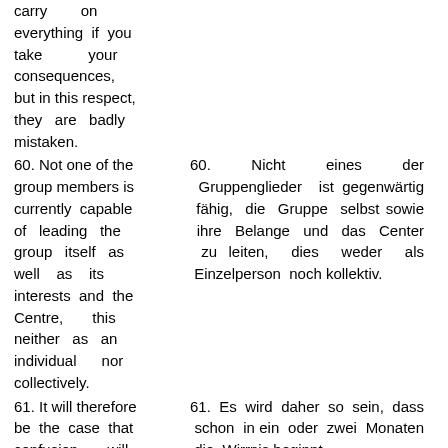carry on everything if you take your consequences, but in this respect, they are badly mistaken.
60. Not one of the group members is currently capable of leading the group itself as well as its interests and the Centre, this neither as an individual nor collectively.
60. Nicht eines der Gruppenglieder ist gegenwärtig fähig, die Gruppe selbst sowie ihre Belange und das Center zu leiten, dies weder als Einzelperson noch kollektiv.
61. It will therefore be the case that confusion will already begin in
61. Es wird daher so sein, dass schon in ein oder zwei Monaten die Wirrnis beginnt.